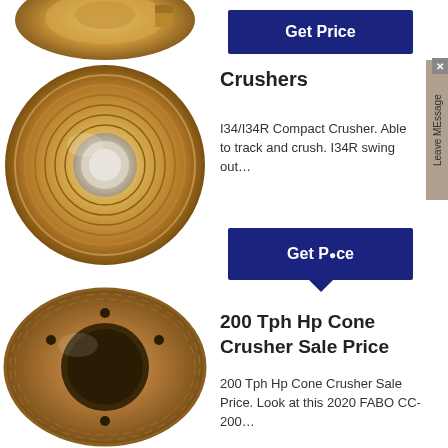[Figure (photo): Partial view of a bronze/brass cone crusher part, viewed from above, cropped at top of page.]
[Figure (photo): Bronze/brass cone crusher bushing or bowl liner, cylindrical with concentric rings, viewed from above, showing hollow center.]
[Figure (photo): Bronze/brass cone crusher part, circular flange with bolt holes, viewed from above.]
Get Price
Crushers
I34/I34R Compact Crusher. Able to track and crush. I34R swing out...
Get Price
200 Tph Hp Cone Crusher Sale Price
200 Tph Hp Cone Crusher Sale Price. Look at this 2020 FABO CC-200...